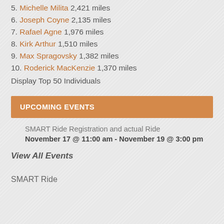5. Michelle Milita 2,421 miles
6. Joseph Coyne 2,135 miles
7. Rafael Agne 1,976 miles
8. Kirk Arthur 1,510 miles
9. Max Spragovsky 1,382 miles
10. Roderick MacKenzie 1,370 miles
Display Top 50 Individuals
UPCOMING EVENTS
SMART Ride Registration and actual Ride
November 17 @ 11:00 am - November 19 @ 3:00 pm
View All Events
SMART Ride